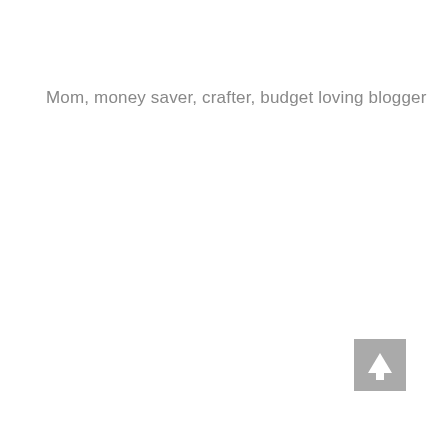Mom, money saver, crafter, budget loving blogger
[Figure (other): A small grey square button with a white upward-pointing arrow icon, positioned in the lower-right area of the page.]